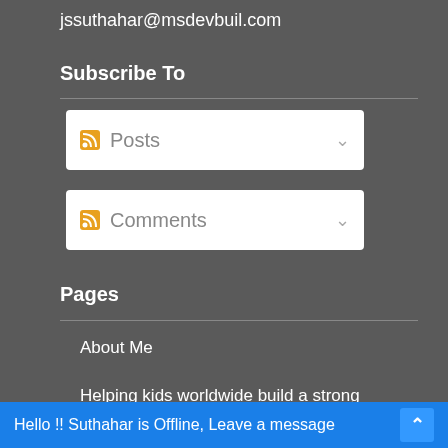jssuthahar@msdevbuil.com
Subscribe To
Posts
Comments
Pages
About Me
Helping kids worldwide build a strong foundation for their future
Suthahar Speaking Engagements
Hello !! Suthahar is Offline, Leave a message